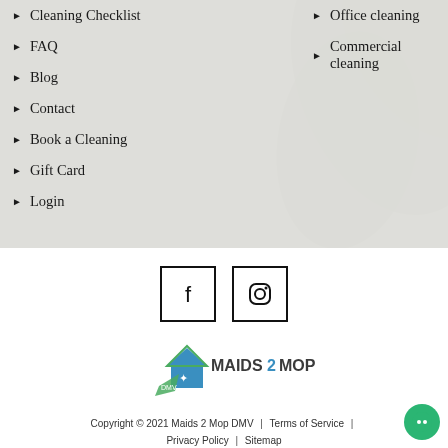Cleaning Checklist
Office cleaning
FAQ
Commercial cleaning
Blog
Contact
Book a Cleaning
Gift Card
Login
[Figure (logo): Facebook and Instagram social media icon boxes]
[Figure (logo): Maids 2 Mop DMV company logo with house icon and text]
Copyright © 2021 Maids 2 Mop DMV | Terms of Service | Privacy Policy | Sitemap